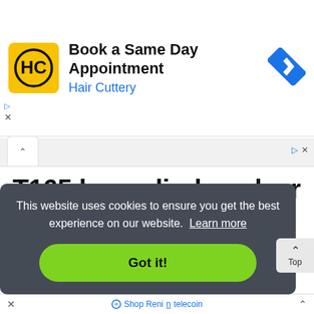[Figure (screenshot): Hair Cuttery advertisement banner with logo, text 'Book a Same Day Appointment', 'Hair Cuttery', and a blue navigation arrow icon on the right. Ad controls (play and close icons) on left side.]
T165 laser diode pulser
Picosecond to nanosecond
Incorporates an edge triggered pulse generator with fast rise and fall times
This website uses cookies to ensure you get the best experience on our website. Learn more
Got it!